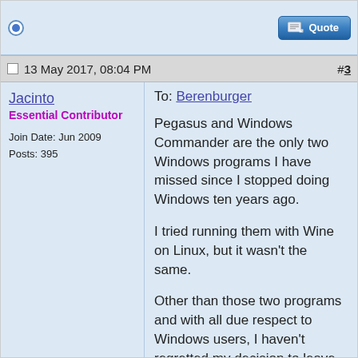[Figure (screenshot): Top strip of a previous forum post showing a radio button icon on the left and a Quote button on the right.]
13 May 2017, 08:04 PM  #3
Jacinto
Essential Contributor

Join Date: Jun 2009
Posts: 395
To: Berenburger

Pegasus and Windows Commander are the only two Windows programs I have missed since I stopped doing Windows ten years ago.

I tried running them with Wine on Linux, but it wasn't the same.

Other than those two programs and with all due respect to Windows users, I haven't regretted my decision to leave Windows for Linux.

--